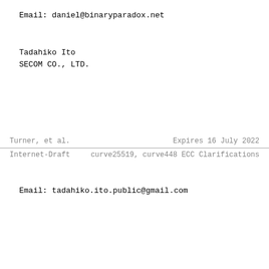Email: daniel@binaryparadox.net
Tadahiko Ito
SECOM CO., LTD.
Turner, et al.                    Expires 16 July 2022
Internet-Draft    curve25519, curve448 ECC Clarifications
Email: tadahiko.ito.public@gmail.com